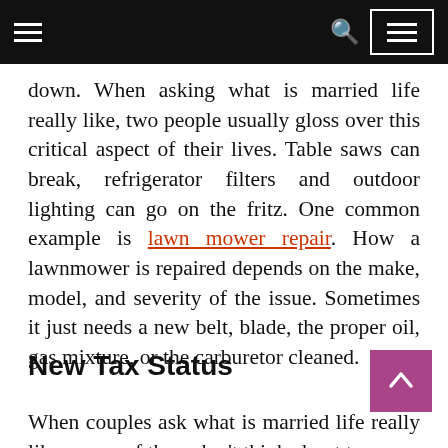Navigation bar with hamburger menu, search icon, and menu button
down. When asking what is married life really like, two people usually gloss over this critical aspect of their lives. Table saws can break, refrigerator filters and outdoor lighting can go on the fritz. One common example is lawn mower repair. How a lawnmower is repaired depends on the make, model, and severity of the issue. Sometimes it just needs a new belt, blade, the proper oil, gas mixture, or the carburetor cleaned.
New Tax Status
When couples ask what is married life really like, many of them don't think about taxes